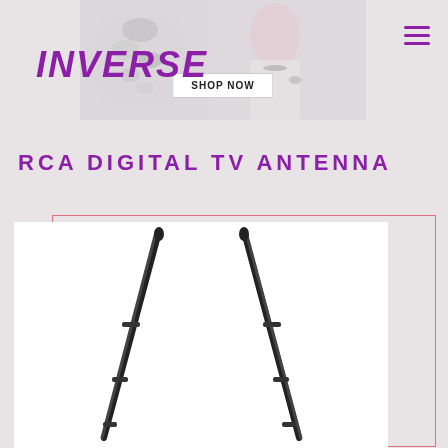INVERSE
[Figure (photo): Jewelry advertisement banner showing diamond earrings and a woman wearing necklace, rings and bracelets, with a 'SHOP NOW' button]
RCA DIGITAL TV ANTENNA
[Figure (photo): Product photo of RCA Digital TV Antenna showing two extendable antenna rods in a V-shape against a white background, inside a pink-bordered frame]